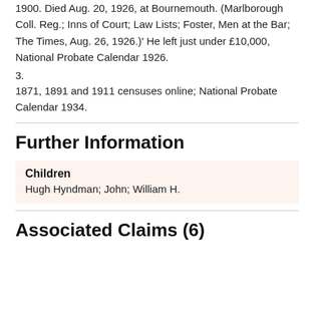1900. Died Aug. 20, 1926, at Bournemouth. (Marlborough Coll. Reg.; Inns of Court; Law Lists; Foster, Men at the Bar; The Times, Aug. 26, 1926.)' He left just under £10,000, National Probate Calendar 1926.
3.
1871, 1891 and 1911 censuses online; National Probate Calendar 1934.
Further Information
Children
Hugh Hyndman; John; William H.
Associated Claims (6)